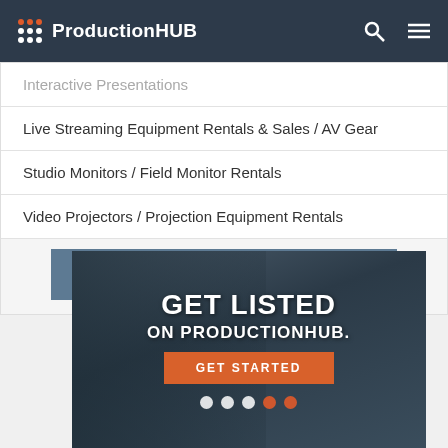ProductionHUB
Interactive Presentations
Live Streaming Equipment Rentals & Sales / AV Gear
Studio Monitors / Field Monitor Rentals
Video Projectors / Projection Equipment Rentals
SHOW MORE
[Figure (photo): GET LISTED ON PRODUCTIONHUB. promotional banner with a cameraman in the background and a GET STARTED button]